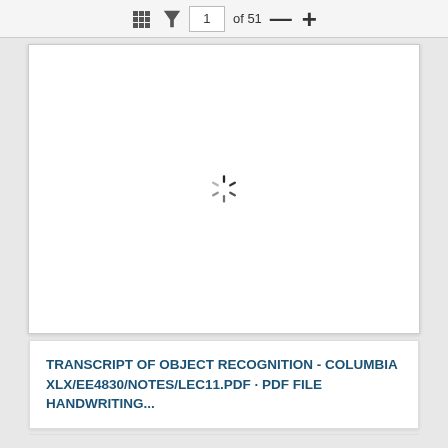1 of 51
[Figure (screenshot): PDF viewer area showing a loading spinner (spinning wheel/loader icon) on a white background, indicating a PDF document is loading.]
TRANSCRIPT OF OBJECT RECOGNITION - COLUMBIA XLX/EE4830/NOTES/LEC11.PDF · PDF FILE HANDWRITING...